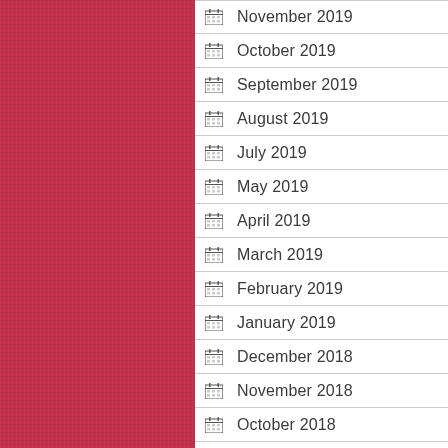November 2019
October 2019
September 2019
August 2019
July 2019
May 2019
April 2019
March 2019
February 2019
January 2019
December 2018
November 2018
October 2018